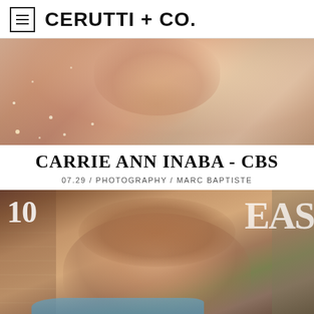CERUTTI + CO.
[Figure (photo): Close-up fashion editorial photo of a woman in a sparkly/sequined outfit, warm tones, luxury fashion shoot]
CARRIE ANN INABA - CBS
07.29 / PHOTOGRAPHY / MARC BAPTISTE
[Figure (photo): Magazine cover or editorial photo of a young woman with wavy auburn hair, resting chin on hand, wearing a light blue floral embroidered top, with large magazine text overlay reading '10 IDEAS' or similar, brick wall background]